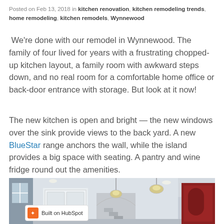Posted on Feb 13, 2018 in kitchen renovation, kitchen remodeling trends, home remodeling, kitchen remodels, Wynnewood
We're done with our remodel in Wynnewood. The family of four lived for years with a frustrating chopped-up kitchen layout, a family room with awkward steps down, and no real room for a comfortable home office or back-door entrance with storage. But look at it now!
The new kitchen is open and bright — the new windows over the sink provide views to the back yard. A new BlueStar range anchors the wall, while the island provides a big space with seating. A pantry and wine fridge round out the amenities.
[Figure (photo): Interior photo of a renovated kitchen/entryway area with white walls, pendant lights hanging from ceiling, recessed lighting, white paneled doors, and a red door visible on the right. Has a HubSpot badge overlay.]